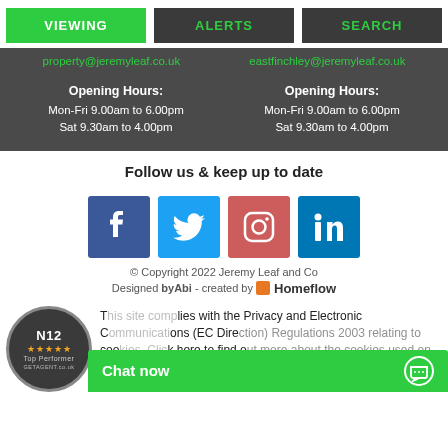VIEWING | ALERTS | SEARCH
property@jeremyleaf.co.uk   eastfinchley@jeremyleaf.co.uk
Opening Hours:
Mon-Fri 9.00am to 6.00pm
Sat 9.30am to 4.00pm
Opening Hours:
Mon-Fri 9.00am to 6.00pm
Sat 9.30am to 4.00pm
Follow us & keep up to date
[Figure (infographic): Social media icons: Facebook, Twitter, Instagram, LinkedIn]
© Copyright 2022 Jeremy Leaf and Co
Designed byAbi - created by Homeflow
[Figure (logo): N12 Top Performer badge from GetAgent.co.uk with 5 stars]
This site complies with the Privacy and Electronic Communications (EC Directive) Regulations 2003 relating to cookies. Click here to find out more about the cookies used on this site.
Chat now